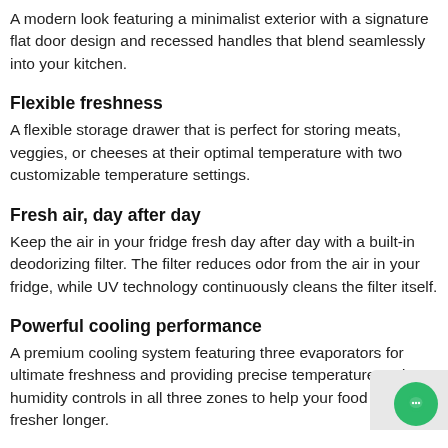A modern look featuring a minimalist exterior with a signature flat door design and recessed handles that blend seamlessly into your kitchen.
Flexible freshness
A flexible storage drawer that is perfect for storing meats, veggies, or cheeses at their optimal temperature with two customizable temperature settings.
Fresh air, day after day
Keep the air in your fridge fresh day after day with a built-in deodorizing filter. The filter reduces odor from the air in your fridge, while UV technology continuously cleans the filter itself.
Powerful cooling performance
A premium cooling system featuring three evaporators for ultimate freshness and providing precise temperature and humidity controls in all three zones to help your food stay fresher longer.
Control your smart home
See who's at the front door with Ring, monitor multiple rooms with Arlo, use voice control with Alexa, adjust your